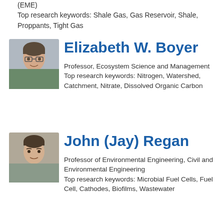(EME)
Top research keywords: Shale Gas, Gas Reservoir, Shale, Proppants, Tight Gas
[Figure (photo): Headshot of Elizabeth W. Boyer]
Elizabeth W. Boyer
Professor, Ecosystem Science and Management
Top research keywords: Nitrogen, Watershed, Catchment, Nitrate, Dissolved Organic Carbon
[Figure (photo): Headshot of John (Jay) Regan]
John (Jay) Regan
Professor of Environmental Engineering, Civil and Environmental Engineering
Top research keywords: Microbial Fuel Cells, Fuel Cell, Cathodes, Biofilms, Wastewater